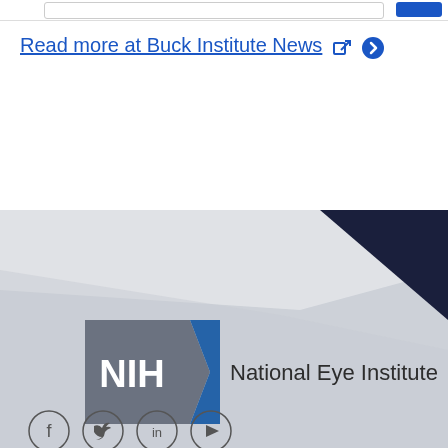Read more at Buck Institute News
[Figure (logo): NIH National Eye Institute logo with gray NIH badge and blue chevron arrow, followed by text 'National Eye Institute']
[Figure (infographic): Row of social media icon circles at bottom of page (Facebook, Twitter, LinkedIn, YouTube)]